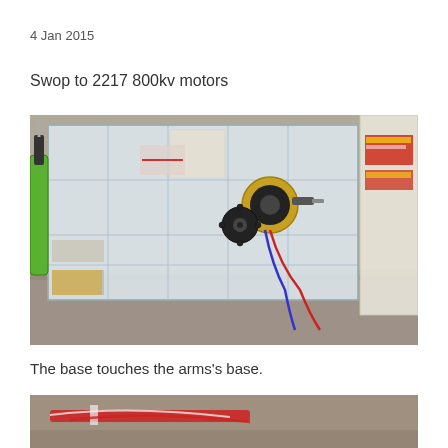4 Jan 2015
Swop to 2217 800kv motors
[Figure (photo): Photo of a clear plastic organizer box containing various small hardware parts, screws, and components. A yellow-green screwdriver is on the left. A brushless motor (gold and black, 2217 800kv) with red and blue wires is placed on top of the box lid. A black gear/pulley is also visible. The box sits on a granite countertop. Another plastic bag with stickers is visible on the right.]
The base touches the arms's base.
[Figure (photo): Partial photo showing the bottom portion of a drone or RC aircraft assembly on a granite surface, with red and white wires visible.]